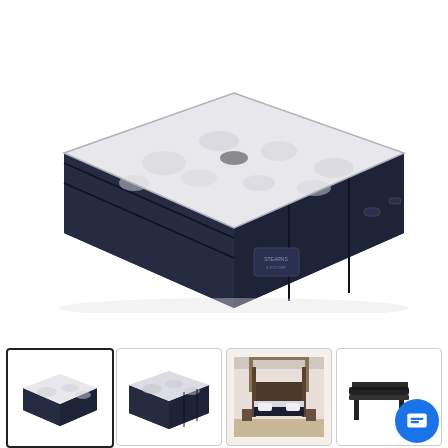[Figure (photo): Main product image of a Stearns & Foster mattress shown at an angle — white quilted pillow-top surface and dark navy/black sides with a label visible on the front. The mattress is displayed on a white background.]
[Figure (photo): Thumbnail 1 (active/selected): Same mattress product photo at an angle, white top and dark navy sides, selected state with black border.]
[Figure (photo): Thumbnail 2: Front-facing angled view of the same dark navy mattress with white pillow top, slightly different angle.]
[Figure (photo): Thumbnail 3: Lifestyle photo of a bedroom with a four-poster bed frame and the dark mattress in a styled bedroom setting.]
[Figure (photo): Thumbnail 4: Partial image of a black adjustable bed base, partially visible, with a round blue chat button overlay in the foreground.]